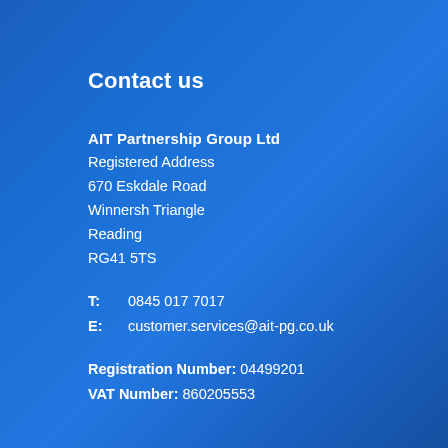Contact us
AIT Partnership Group Ltd
Registered Address
670 Eskdale Road
Winnersh Triangle
Reading
RG41 5TS
T: 0845 017 7017
E: customer.services@ait-pg.co.uk
Registration Number: 04499201
VAT Number: 860205553